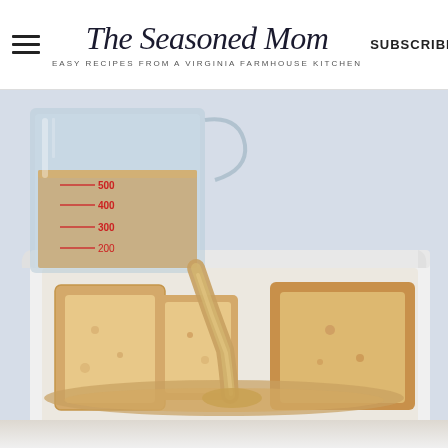The Seasoned Mom — EASY RECIPES FROM A VIRGINIA FARMHOUSE KITCHEN | SUBSCRIBE
[Figure (photo): A glass measuring cup (showing markings 200, 300, 400, 500 ml in red) pouring a creamy tan-colored custard mixture over thick-sliced white bread pieces arranged in a white baking dish. The liquid streams down onto the bread in a close-up food photography shot with a soft blue-white background.]